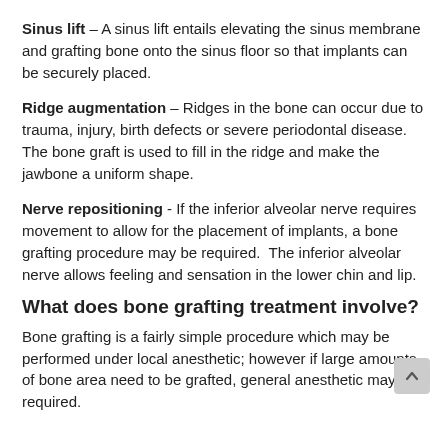Sinus lift – A sinus lift entails elevating the sinus membrane and grafting bone onto the sinus floor so that implants can be securely placed.
Ridge augmentation – Ridges in the bone can occur due to trauma, injury, birth defects or severe periodontal disease.  The bone graft is used to fill in the ridge and make the jawbone a uniform shape.
Nerve repositioning - If the inferior alveolar nerve requires movement to allow for the placement of implants, a bone grafting procedure may be required.  The inferior alveolar nerve allows feeling and sensation in the lower chin and lip.
What does bone grafting treatment involve?
Bone grafting is a fairly simple procedure which may be performed under local anesthetic; however if large amounts of bone area need to be grafted, general anesthetic may be required.